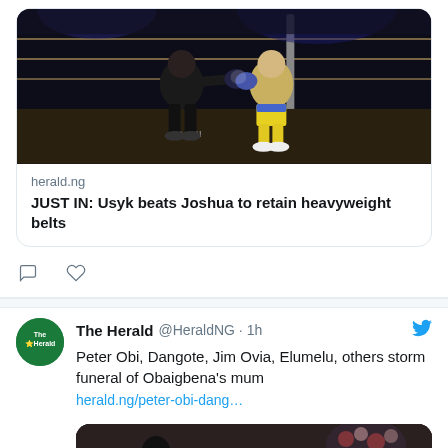[Figure (photo): Boxing match photo: two boxers in a ring, one in dark shorts, one in yellow/blue shorts, mid-fight action]
herald.ng
JUST IN: Usyk beats Joshua to retain heavyweight belts
[Figure (photo): The Herald Twitter profile avatar - green circle with The Herald logo]
The Herald @HeraldNG · 1h
Peter Obi, Dangote, Jim Ovia, Elumelu, others storm funeral of Obaigbena's mum
herald.ng/peter-obi-dang…
[Figure (photo): Funeral event photo: two men in black attire greeting each other, photographers in background]